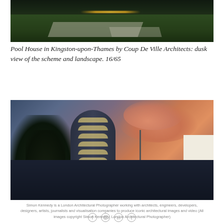[Figure (photo): Dusk view of pool house and landscape in Kingston-upon-Thames, showing illuminated pathway and manicured lawn]
Pool House in Kingston-upon-Thames by Coup De Ville Architects: dusk view of the scheme and landscape. 16/65
[Figure (photo): Exterior dusk view of a modern curved glass and brick residential building with illuminated windows against a dramatic pink and blue cloudy sky, with bare trees in foreground]
Simon Kennedy is a London Architectural Photographer working with architects, engineers, developers, designers, artists, journalists and visualisation companies to produce iconic architectural images and video (All images copyright Simon Kennedy, London Architectural Photographer)